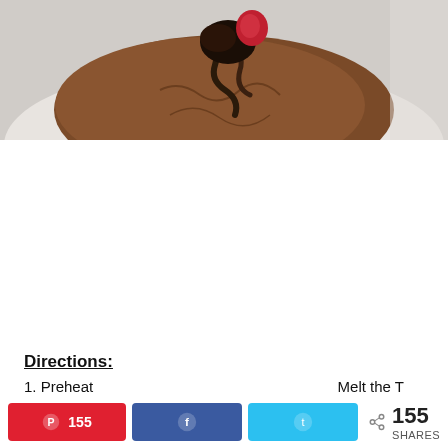[Figure (photo): Close-up photo of a chocolate cookie with chocolate topping, partially cropped at top, on a white background.]
Directions:
1. Preheat...
Share buttons: Pinterest 155, Facebook, Twitter, 155 SHARES